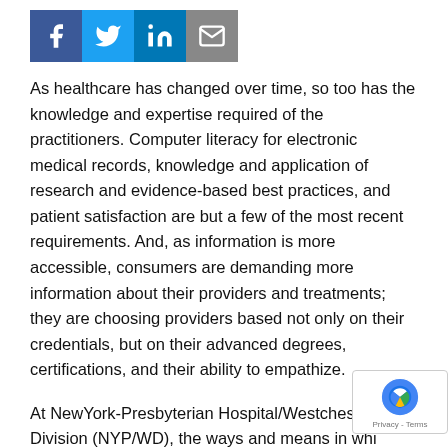[Figure (other): Social sharing buttons: Facebook (blue), Twitter (light blue), LinkedIn (dark blue), Email (gray)]
As healthcare has changed over time, so too has the knowledge and expertise required of the practitioners. Computer literacy for electronic medical records, knowledge and application of research and evidence-based best practices, and patient satisfaction are but a few of the most recent requirements. And, as information is more accessible, consumers are demanding more information about their providers and treatments; they are choosing providers based not only on their credentials, but on their advanced degrees, certifications, and their ability to empathize.
At NewYork-Presbyterian Hospital/Westchester Division (NYP/WD), the ways and means in which mental health professionals upgrade their skills in a constantly changing mental health care